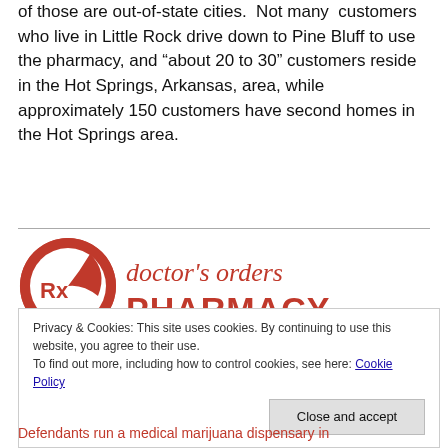of those are out-of-state cities. Not many customers who live in Little Rock drive down to Pine Bluff to use the pharmacy, and "about 20 to 30" customers reside in the Hot Springs, Arkansas, area, while approximately 150 customers have second homes in the Hot Springs area.
[Figure (logo): Doctor's Orders Pharmacy logo — red circular Rx symbol on the left, text 'doctor's orders' in red serif font and 'PHARMACY' in large bold red block letters on the right]
Privacy & Cookies: This site uses cookies. By continuing to use this website, you agree to their use. To find out more, including how to control cookies, see here: Cookie Policy
Close and accept
Defendants run a medical marijuana dispensary in